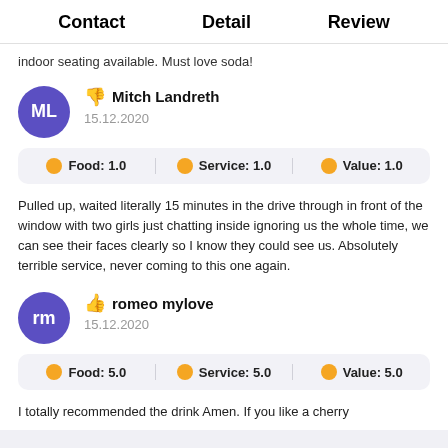Contact   Detail   Review
indoor seating available. Must love soda!
ML  👎  Mitch Landreth  15.12.2020
| Food | Service | Value |
| --- | --- | --- |
| 1.0 | 1.0 | 1.0 |
Pulled up, waited literally 15 minutes in the drive through in front of the window with two girls just chatting inside ignoring us the whole time, we can see their faces clearly so I know they could see us. Absolutely terrible service, never coming to this one again.
rm  👍  romeo mylove  15.12.2020
| Food | Service | Value |
| --- | --- | --- |
| 5.0 | 5.0 | 5.0 |
I totally recommended the drink Amen. If you like a cherry